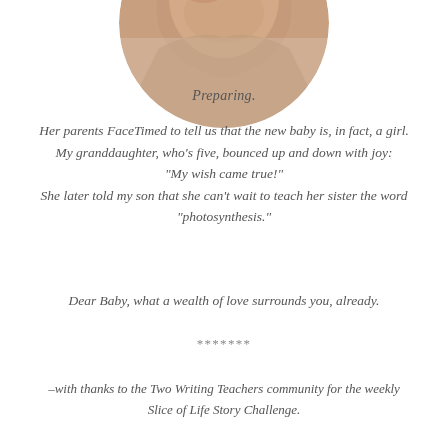[Figure (photo): Circular cropped photo of a baby or young child, partially visible at the top of the page, showing warm reddish and earthy tones.]
Preparing.
Her parents FaceTimed to tell us that the new baby is, in fact, a girl. My granddaughter, who's five, bounced up and down with joy: "My wish came true!" She later told my son that she can't wait to teach her sister the word "photosynthesis."
Dear Baby, what a wealth of love surrounds you, already.
*******
–with thanks to the Two Writing Teachers community for the weekly Slice of Life Story Challenge.